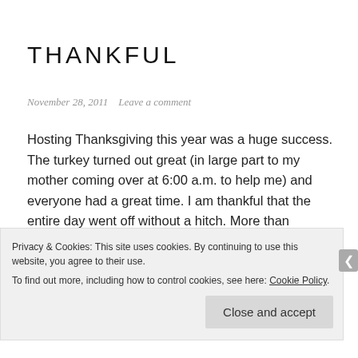THANKFUL
November 28, 2011   Leave a comment
Hosting Thanksgiving this year was a huge success. The turkey turned out great (in large part to my mother coming over at 6:00 a.m. to help me) and everyone had a great time. I am thankful that the entire day went off without a hitch. More than anything I am thankful for the people that were there. Even in the middle of the craziness of hosting I felt like I had a chance to connect with each person and I
Privacy & Cookies: This site uses cookies. By continuing to use this website, you agree to their use.
To find out more, including how to control cookies, see here: Cookie Policy
Close and accept